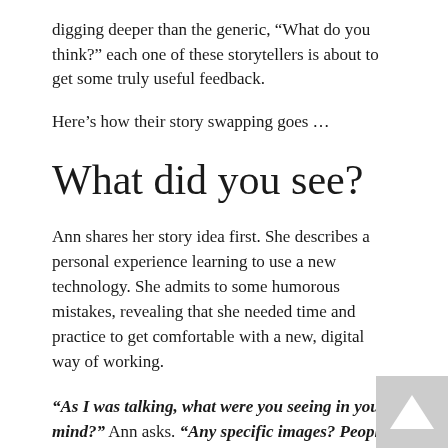digging deeper than the generic, “What do you think?” each one of these storytellers is about to get some truly useful feedback.
Here’s how their story swapping goes …
What did you see?
Ann shares her story idea first. She describes a personal experience learning to use a new technology. She admits to some humorous mistakes, revealing that she needed time and practice to get comfortable with a new, digital way of working.
“As I was talking, what were you seeing in your mind?” Ann asks. “Any specific images? People? Places? Things?”